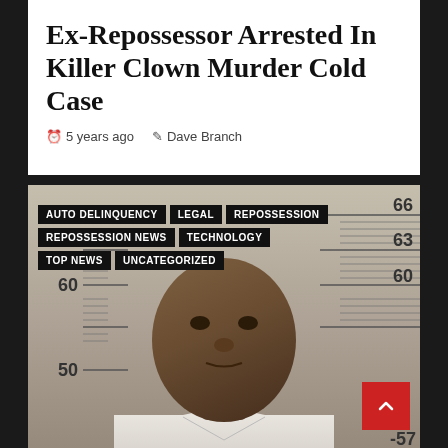Ex-Repossessor Arrested In Killer Clown Murder Cold Case
5 years ago   Dave Branch
[Figure (photo): Mugshot-style booking photo of a heavyset Black man in a white jacket, photographed in front of a standard height measurement ruler board showing markings at 50, 60, 63, 66, and 57 inches. Category tags overlaid on the photo read: AUTO DELINQUENCY, LEGAL, REPOSSESSION, REPOSSESSION NEWS, TECHNOLOGY, TOP NEWS, UNCATEGORIZED. A red back-to-top button with a chevron icon appears in the lower right corner of the image.]